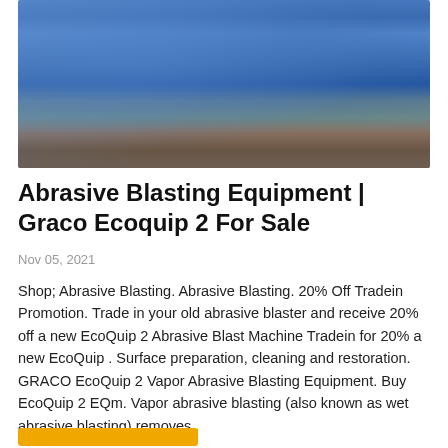[Figure (photo): Large blue industrial crushing/mining machine on tracks, photographed outdoors in a yard or worksite. The machine is heavy-duty with conveyor components, painted blue.]
Abrasive Blasting Equipment | Graco Ecoquip 2 For Sale
Nov 05, 2021
Shop; Abrasive Blasting. Abrasive Blasting. 20% Off Tradein Promotion. Trade in your old abrasive blaster and receive 20% off a new EcoQuip 2 Abrasive Blast Machine Tradein for 20% a new EcoQuip . Surface preparation, cleaning and restoration. GRACO EcoQuip 2 Vapor Abrasive Blasting Equipment. Buy EcoQuip 2 EQm. Vapor abrasive blasting (also known as wet abrasive blasting) removes .